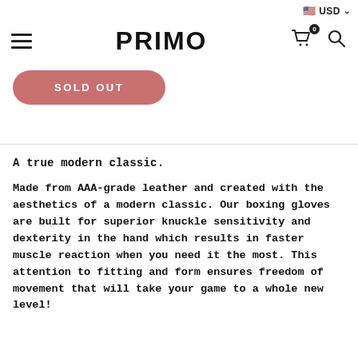USD
[Figure (logo): PRIMO brand logo in bold black text]
[Figure (other): Sold Out button in muted red/pink rounded rectangle]
A true modern classic.
Made from AAA-grade leather and created with the aesthetics of a modern classic. Our boxing gloves are built for superior knuckle sensitivity and dexterity in the hand which results in faster muscle reaction when you need it the most. This attention to fitting and form ensures freedom of movement that will take your game to a whole new level!